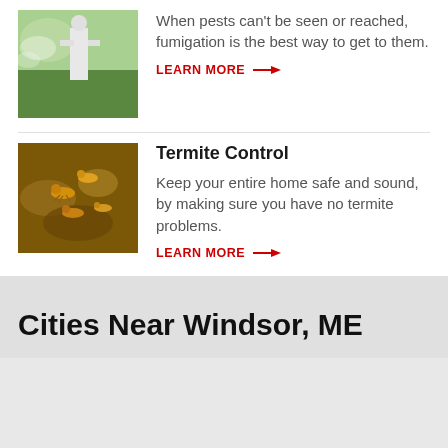[Figure (photo): Person in white protective suit fumigating outdoors with spray equipment, green background]
When pests can't be seen or reached, fumigation is the best way to get to them.
LEARN MORE →
[Figure (photo): Close-up photo of termites on wood/soil surface, showing orange-brown insects]
Termite Control
Keep your entire home safe and sound, by making sure you have no termite problems.
LEARN MORE →
Cities Near Windsor, ME